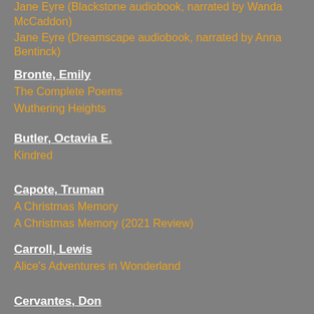Jane Eyre (Blackstone audiobook, narrated by Wanda McCaddon)
Jane Eyre (Dreamscape audiobook, narrated by Anna Bentinck)
Bronte, Emily
The Complete Poems
Wuthering Heights
Butler, Octavia E.
Kindred
Capote, Truman
A Christmas Memory
A Christmas Memory (2021 Review)
Carroll, Lewis
Alice's Adventures in Wonderland
Cervantes, Don [partially visible]